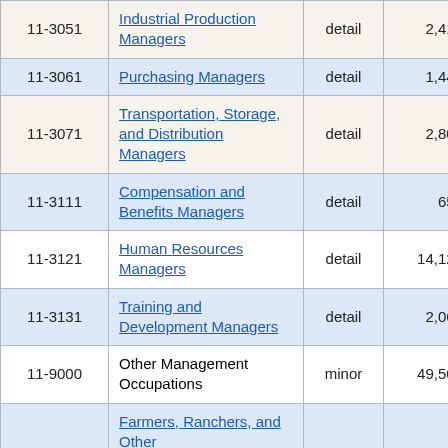| Code | Occupation | Level | Employment | ... |
| --- | --- | --- | --- | --- |
| 11-3051 | Industrial Production Managers | detail | 2,410 | 10... |
| 11-3061 | Purchasing Managers | detail | 1,440 | 13... |
| 11-3071 | Transportation, Storage, and Distribution Managers | detail | 2,800 | 6... |
| 11-3111 | Compensation and Benefits Managers | detail | 650 | 12... |
| 11-3121 | Human Resources Managers | detail | 14,120 | 4... |
| 11-3131 | Training and Development Managers | detail | 2,060 | 9... |
| 11-9000 | Other Management Occupations | minor | 49,500 | 3... |
|  | Farmers, Ranchers, and Other... |  |  |  |